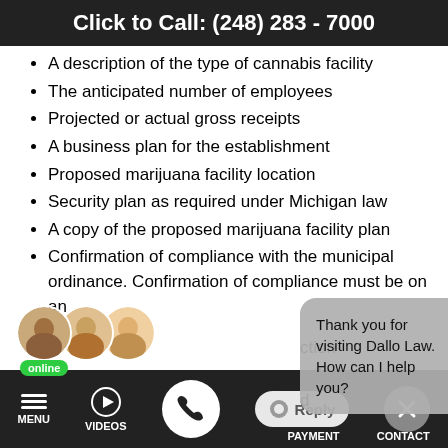Click to Call: (248) 283 - 7000
A description of the type of cannabis facility
The anticipated number of employees
Projected or actual gross receipts
A business plan for the establishment
Proposed marijuana facility location
Security plan as required under Michigan law
A copy of the proposed marijuana facility plan
Confirmation of compliance with the municipal ordinance. Confirmation of compliance must be on an
Thank you for visiting Dallo Law. How can I help you?
Written ... the ordinance under section 205 of the Michigan Regulation and Taxation of Marijuana Act
MENU  VIDEOS  PAYMENT  CONTACT